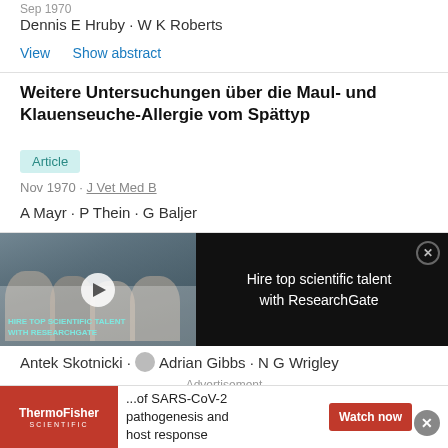Sep 1970
Dennis E Hruby · W K Roberts
View    Show abstract
Weitere Untersuchungen über die Maul- und Klauenseuche-Allergie vom Spättyp
Article
Nov 1970 · J Vet Med B
A Mayr · P Thein · G Baljer
[Figure (photo): Advertisement showing scientists in lab coats with text 'HIRE TOP SCIENTIFIC TALENT WITH RESEARCHGATE' and a play button overlay. Right side shows text 'Hire top scientific talent with ResearchGate' on dark background.]
Antek Skotnicki · Adrian Gibbs · N G Wrigley
Advertisement
[Figure (photo): ThermoFisher Scientific advertisement: '...of SARS-CoV-2 pathogenesis and host response' with Watch now button]